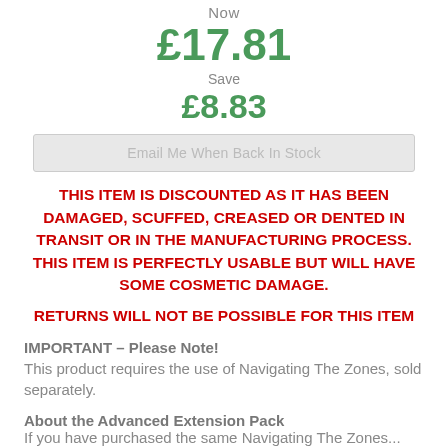Now
£17.81
Save
£8.83
Email Me When Back In Stock
THIS ITEM IS DISCOUNTED AS IT HAS BEEN DAMAGED, SCUFFED, CREASED OR DENTED IN TRANSIT OR IN THE MANUFACTURING PROCESS. THIS ITEM IS PERFECTLY USABLE BUT WILL HAVE SOME COSMETIC DAMAGE.

RETURNS WILL NOT BE POSSIBLE FOR THIS ITEM
IMPORTANT – Please Note!
This product requires the use of Navigating The Zones, sold separately.
About the Advanced Extension Pack
If you have purchased the same Navigating The Zones...